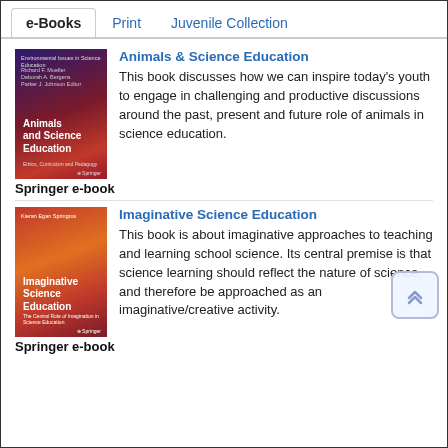e-Books | Print | Juvenile Collection
Animals & Science Education
This book discusses how we can inspire today's youth to engage in challenging and productive discussions around the past, present and future role of animals in science education.
Springer e-book
Imaginative Science Education
This book is about imaginative approaches to teaching and learning school science. Its central premise is that science learning should reflect the nature of science, and therefore be approached as an imaginative/creative activity.
Springer e-book